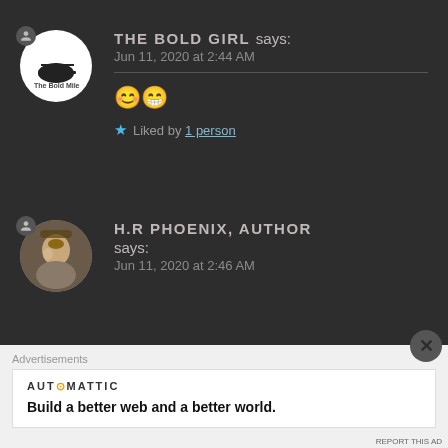THE BOLD GIRL says:
Jun 11, 2020 at 2:44 AM
😊😁
★ Liked by 1 person
H.R PHOENIX, AUTHOR says:
Jun 11, 2020 at 2:46 AM
Advertisements
AUTOMATTIC
Build a better web and a better world.